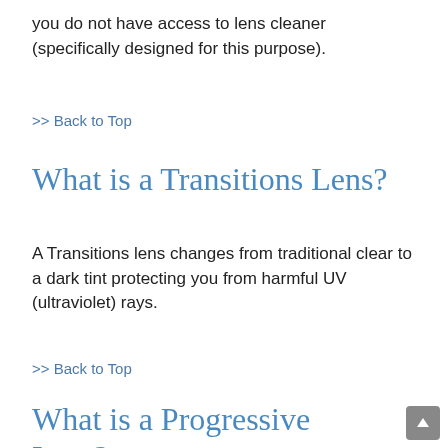you do not have access to lens cleaner (specifically designed for this purpose).
>> Back to Top
What is a Transitions Lens?
A Transitions lens changes from traditional clear to a dark tint protecting you from harmful UV (ultraviolet) rays.
>> Back to Top
What is a Progressive Lens?